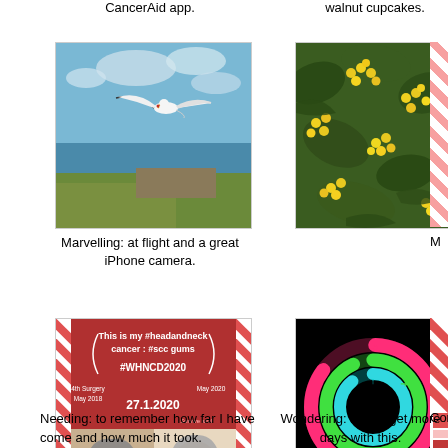CancerAid app.
walnut cupcakes.
[Figure (photo): A seagull in flight over a coastal cliff with blue sky and sea]
[Figure (photo): Yellow flowers close-up with green leaves]
[Figure (photo): Partial red and white striped image (cropped)]
Marvelling: at flight and a great iPhone camera.
M
[Figure (photo): Head and neck cancer awareness graphic with text: This is my #headandneck cancer: #scc gums #WHNCD2020, 4th Surgery May 2018, May 2020, 27.1.2020, with two photos of a woman before and after]
[Figure (photo): Apple Watch activity rings on black background showing pink, green, and blue rings with arrow indicators. Date: 11 May 2020]
[Figure (photo): Partial red and white striped image with colorful elements (cropped)]
Needing: to remember how far I have come and how much it took.
Wondering: if I will get more days with this.
Con